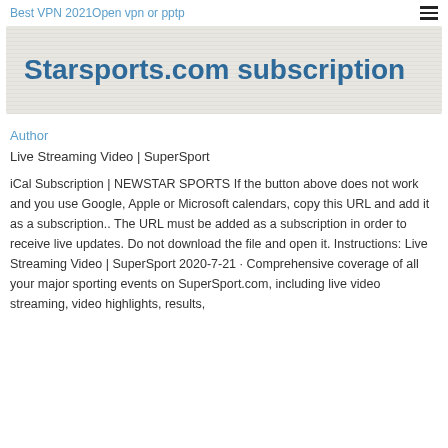Best VPN 2021Open vpn or pptp
Starsports.com subscription
Author
Live Streaming Video | SuperSport
iCal Subscription | NEWSTAR SPORTS If the button above does not work and you use Google, Apple or Microsoft calendars, copy this URL and add it as a subscription.. The URL must be added as a subscription in order to receive live updates. Do not download the file and open it. Instructions: Live Streaming Video | SuperSport 2020-7-21 · Comprehensive coverage of all your major sporting events on SuperSport.com, including live video streaming, video highlights, results,